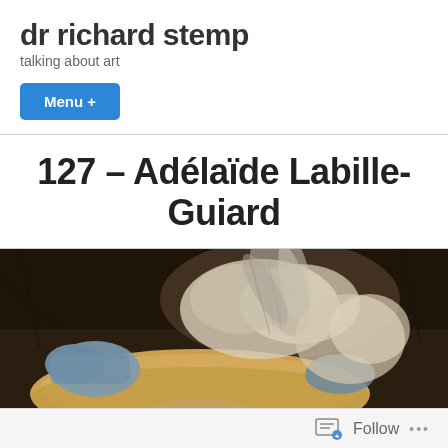dr richard stemp
talking about art
Menu +
127 – Adélaïde Labille-Guiard
[Figure (photo): Cropped detail of a painting showing a woman wearing a straw hat decorated with a blue ribbon and feathers, with powdered/light hair visible — appears to be an 18th-century portrait painting.]
Follow •••